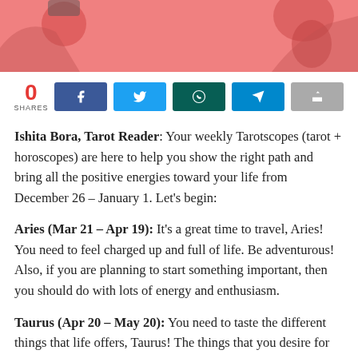[Figure (illustration): Hero banner image with pink/coral background showing illustrated figures, partially cropped at top of page]
0 SHARES
[Figure (infographic): Social share buttons row: Facebook (dark blue), Twitter (light blue), WhatsApp (dark teal), Telegram (blue), Share (gray)]
Ishita Bora, Tarot Reader: Your weekly Tarotscopes (tarot + horoscopes) are here to help you show the right path and bring all the positive energies toward your life from December 26 – January 1. Let's begin:
Aries (Mar 21 – Apr 19): It's a great time to travel, Aries! You need to feel charged up and full of life. Be adventurous! Also, if you are planning to start something important, then you should do with lots of energy and enthusiasm.
Taurus (Apr 20 – May 20): You need to taste the different things that life offers, Taurus! The things that you desire for or your most perfect dream is bound to happen. With